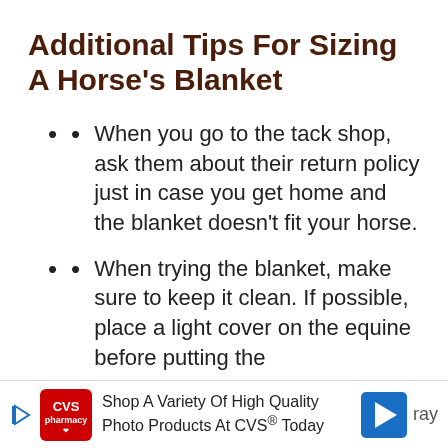Additional Tips For Sizing A Horse's Blanket
When you go to the tack shop, ask them about their return policy just in case you get home and the blanket doesn't fit your horse.
When trying the blanket, make sure to keep it clean. If possible, place a light cover on the equine before putting the blanket on. And if you want to...
[Figure (other): CVS Pharmacy advertisement banner: 'Shop A Variety Of High Quality Photo Products At CVS® Today' with CVS logo and navigation arrow icons]